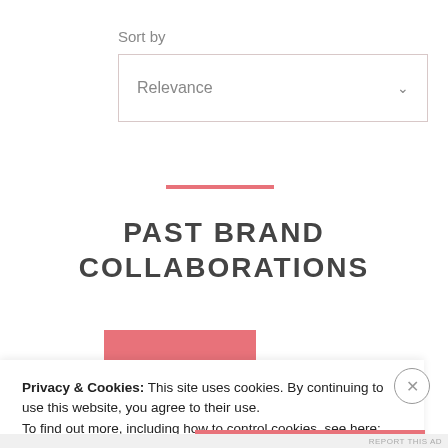Sort by
Relevance
PAST BRAND COLLABORATIONS
[Figure (logo): Zivame brand logo — white serif text 'zivame' on a salmon/coral pink square background]
Privacy & Cookies: This site uses cookies. By continuing to use this website, you agree to their use.
To find out more, including how to control cookies, see here: Cookie Policy
CLOSE AND ACCEPT